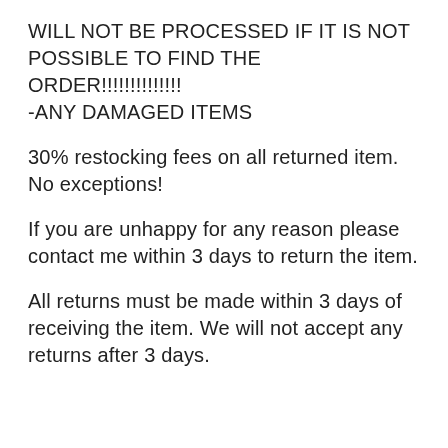WILL NOT BE PROCESSED IF IT IS NOT POSSIBLE TO FIND THE ORDER!!!!!!!!!!!!!!! -ANY DAMAGED ITEMS
30% restocking fees on all returned item. No exceptions!
If you are unhappy for any reason please contact me within 3 days to return the item.
All returns must be made within 3 days of receiving the item. We will not accept any returns after 3 days.